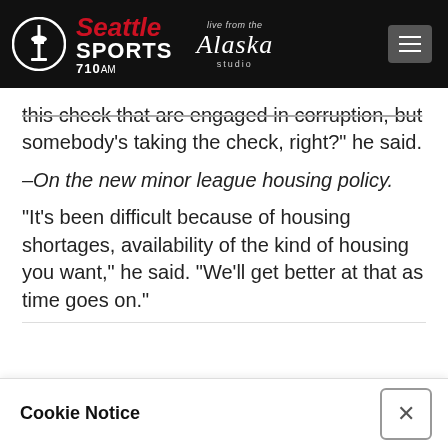Seattle Sports 710AM — Live from the Alaska studio
this check that are engaged in corruption, but somebody's taking the check, right?” he said.
–On the new minor league housing policy.
“It’s been difficult because of housing shortages, availability of the kind of housing you want,” he said. “We’ll get better at that as time goes on.”
Cookie Notice